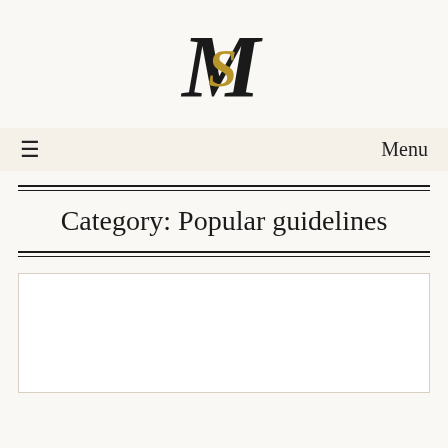[Figure (logo): MS monogram logo with decorative serif M and golden S intertwined]
≡   Menu
Category: Popular guidelines
[Figure (other): White card/article preview box with border]